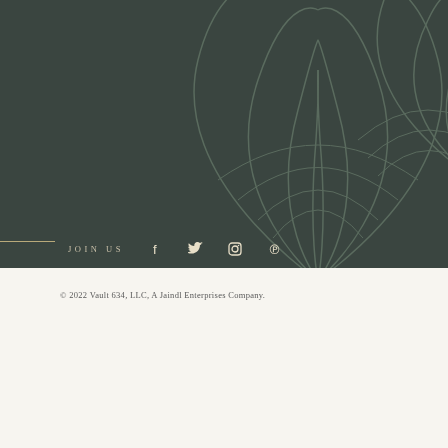[Figure (illustration): Dark green background section with decorative art-deco leaf/fan pattern in muted olive tones on the right side]
CONTACT US →
JOIN US
[Figure (illustration): Social media icons: Facebook, Twitter, Instagram, Pinterest]
© 2022 Vault 634, LLC, A Jaindl Enterprises Company.
All Rights Reserved. Privacy | News | Press Kit →
Site Design →
INQUIRE →